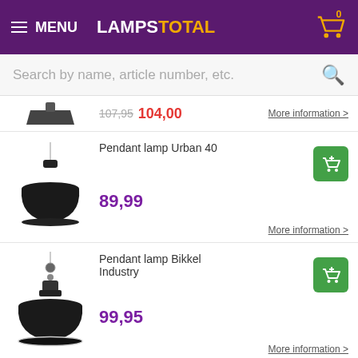MENU  LAMPSTOTAL  Cart: 0
Search by name, article number, etc.
107,95  104,00  More information >
[Figure (photo): Pendant lamp Urban 40 - black industrial dome pendant light]
Pendant lamp Urban 40
89,99
More information >
[Figure (photo): Pendant lamp Bikkel Industry - black industrial dome pendant light]
Pendant lamp Bikkel Industry
99,95
More information >
[Figure (photo): Eye pendant lamp - modern hanging light fixture]
Eye